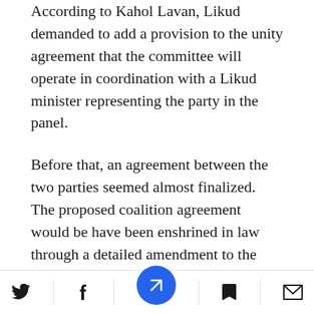According to Kahol Lavan, Likud demanded to add a provision to the unity agreement that the committee will operate in coordination with a Likud minister representing the party in the panel.
Before that, an agreement between the two parties seemed almost finalized. The proposed coalition agreement would be have been enshrined in law through a detailed amendment to the Basic Law on the Government, legally reducing the government terms to three years, and automatically transferring the prime ministership to Gantz
[Figure (other): Bottom navigation bar with social/share icons: Twitter bird icon, Facebook 'f' icon, centered blue circular button with navigation arrow icon, bookmark icon, and envelope/mail icon.]